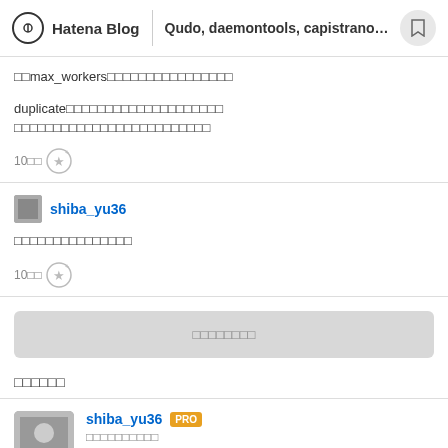Hatena Blog  Qudo, daemontools, capistrano□□□...
□□max_workers□□□□□□□□□□□□□□□□
duplicate□□□□□□□□□□□□□□□□□□□□
□□□□□□□□□□□□□□□□□□□□□□□□□□
10□□  ★+
shiba_yu36
□□□□□□□□□□□□□□□
10□□  ★+
□□□□□□□□
□□□□□□
shiba_yu36  PRO
□□□□□□□□□□